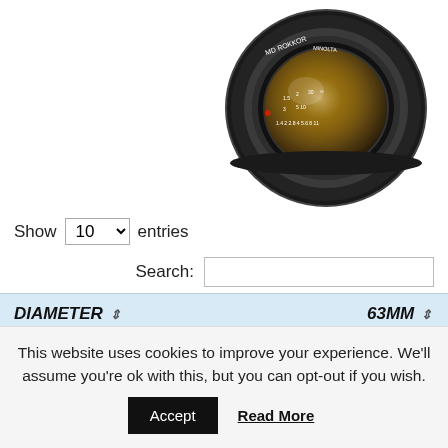[Figure (photo): A black Minolta MD Rokkor camera lens photographed from above-front angle, showing lens elements and focus/aperture rings with markings.]
Show 10 entries
Search:
| DIAMETER | 63MM |
| --- | --- |
| Length | 40mm |
This website uses cookies to improve your experience. We'll assume you're ok with this, but you can opt-out if you wish.
Accept
Read More